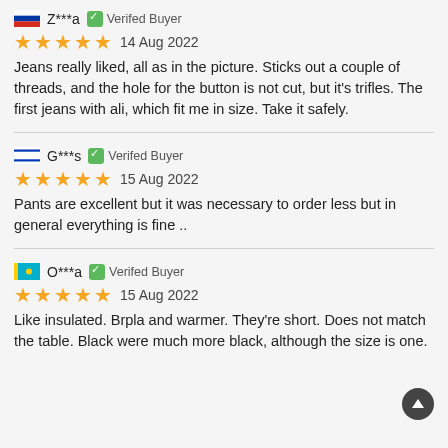Z***a  Verifed Buyer
14 Aug 2022
Jeans really liked, all as in the picture. Sticks out a couple of threads, and the hole for the button is not cut, but it's trifles. The first jeans with ali, which fit me in size. Take it safely.
G***s  Verifed Buyer
15 Aug 2022
Pants are excellent but it was necessary to order less but in general everything is fine ..
O***a  Verifed Buyer
15 Aug 2022
Like insulated. Brpla and warmer. They're short. Does not match the table. Black were much more black, although the size is one.